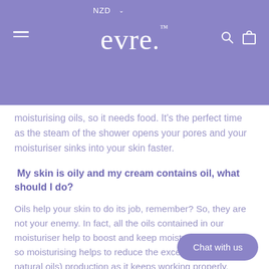NZD  evre.
moisturising oils, so it needs food. It's the perfect time as the steam of the shower opens your pores and your moisturiser sinks into your skin faster.
My skin is oily and my cream contains oil, what should I do?
Oils help your skin to do its job, remember? So, they are not your enemy. In fact, all the oils contained in our moisturiser help to boost and keep moisture into your skin so moisturising helps to reduce the excess sebum (your natural oils) production as it keeps working properly.
Some people like to choose a lighter texture such as a